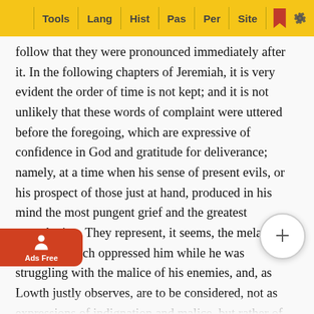Tools | Lang | Hist | Pas | Per | Site
follow that they were pronounced immediately after it. In the following chapters of Jeremiah, it is very evident the order of time is not kept; and it is not unlikely that these words of complaint were uttered before the foregoing, which are expressive of confidence in God and gratitude for deliverance; namely, at a time when his sense of present evils, or his prospect of those just at hand, produced in his mind the most pungent grief and the greatest perturbation. They represent, it seems, the melancholy thoughts which oppressed him while he was struggling with the malice of his enemies, and, as Lowth justly observes, are to be considered, not as expressions of indignation and malice, but rather of mourning and sorrow; or, as a lamentation written in a poetical strain, like a Lessus, Nænia, or mournful ditty, such as the mourning women used to sing, (see note on chapter Jeremiah 9:17,) wherein strong poetical figures were wont to be used, and all the circumstances brought in, which were calculated to render the calamity appear in the most extreme degree.